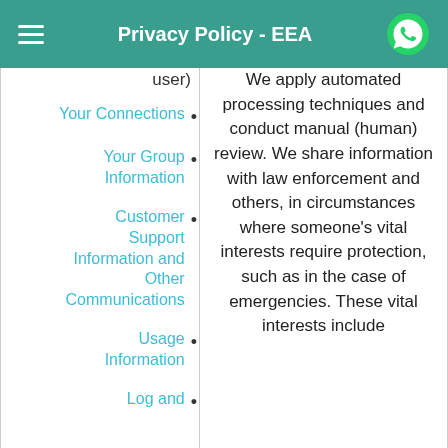Privacy Policy - EEA
user)
Your Connections
Your Group Information
Customer Support Information and Other Communications
Usage Information
Log and
We apply automated processing techniques and conduct manual (human) review. We share information with law enforcement and others, in circumstances where someone’s vital interests require protection, such as in the case of emergencies. These vital interests include